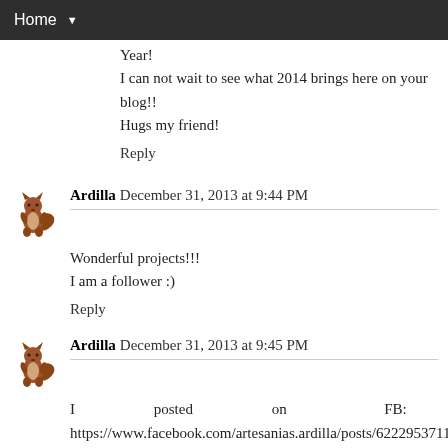Home ▼
Year!
I can not wait to see what 2014 brings here on your blog!!
Hugs my friend!
Reply
Ardilla  December 31, 2013 at 9:44 PM
Wonderful projects!!!
I am a follower :)
Reply
Ardilla  December 31, 2013 at 9:45 PM
I posted on FB:
https://www.facebook.com/artesanias.ardilla/posts/622295371141019
Thanks for the chance!
Happy New Year...
Ardilla :)